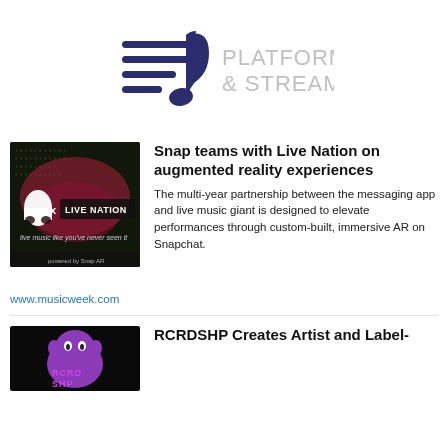[Figure (logo): Platform & Stream logo — musical note lines icon in dark navy/indigo on left, 'PLATFORM & STREAM' text in light gray on right]
[Figure (photo): Snap x Live Nation promotional image showing concert scene with Snap ghost logo, 'LIVE NATION' banner and text 'live music like you've never seen it', 'powered by Snap AR']
Snap teams with Live Nation on augmented reality experiences
The multi-year partnership between the messaging app and live music giant is designed to elevate performances through custom-built, immersive AR on Snapchat.
www.musicweek.com
[Figure (photo): RCRDSHP logo on black background showing purple cartoon character with 'RCRD SHP' text in purple/pink]
RCRDSHP Creates Artist and Label-